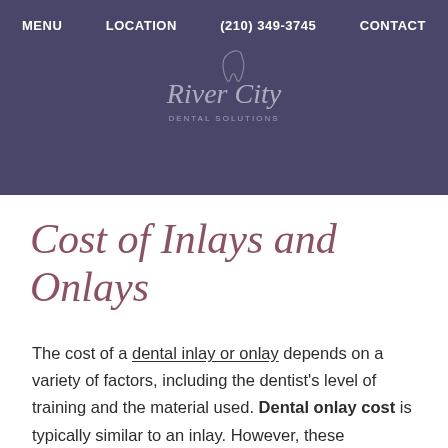MENU   LOCATION   (210) 349-3745   CONTACT
[Figure (logo): River City Dental Solutions logo in script font with tooth icon, white on dark purple background]
Cost of Inlays and Onlays
The cost of a dental inlay or onlay depends on a variety of factors, including the dentist's level of training and the material used. Dental onlay cost is typically similar to an inlay. However, these restorations tend to be larger and